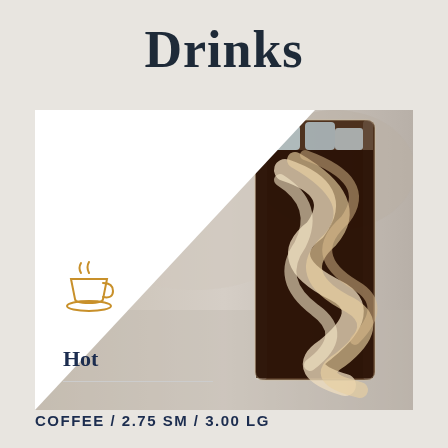Drinks
[Figure (photo): Iced coffee in a tall glass with cream swirling through dark coffee, ice cubes visible at the top, blurred background]
Hot
COFFEE / 2.75 SM / 3.00 LG